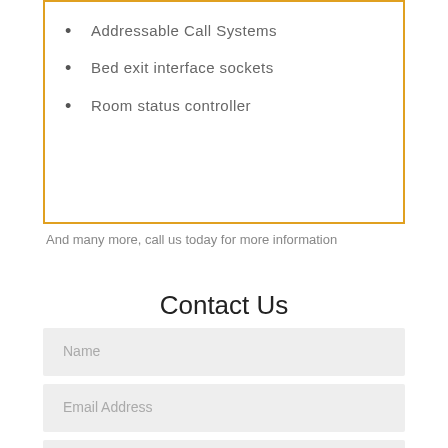Addressable Call Systems
Bed exit interface sockets
Room status controller
And many more, call us today for more information
Contact Us
Name
Email Address
Message